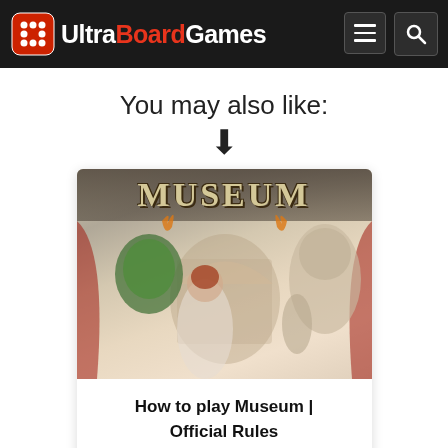UltraBoardGames
You may also like:
[Figure (illustration): Museum board game cover art showing historical figures, a woman with a green mask, ornate architecture, and a large stone statue head, with the title MUSEUM at the top]
How to play Museum | Official Rules